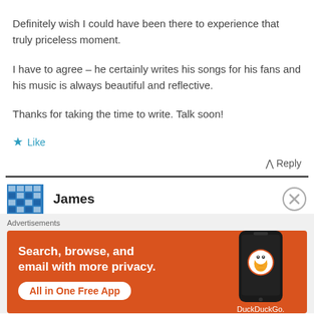Definitely wish I could have been there to experience that truly priceless moment.
I have to agree – he certainly writes his songs for his fans and his music is always beautiful and reflective.
Thanks for taking the time to write. Talk soon!
★ Like
^ Reply
James
[Figure (infographic): DuckDuckGo advertisement banner with orange background, showing 'Search, browse, and email with more privacy. All in One Free App' text and a phone image with DuckDuckGo logo]